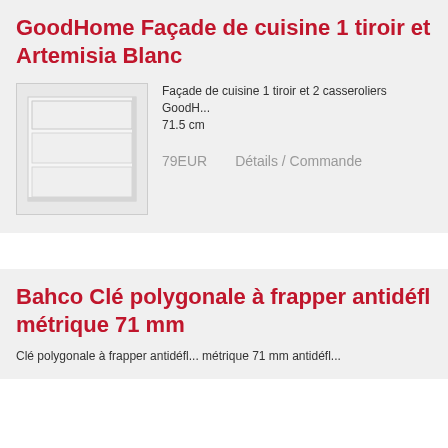GoodHome Façade de cuisine 1 tiroir et Artemisia Blanc
[Figure (photo): Product image of a white kitchen drawer facade with horizontal panel lines]
Façade de cuisine 1 tiroir et 2 casseroliers GoodH... 71.5 cm
79EUR   Détails / Commande
Bahco Clé polygonale à frapper antidéfl... métrique 71 mm
Clé polygonale à frapper antidéfl... métrique 71 mm antidéfl...